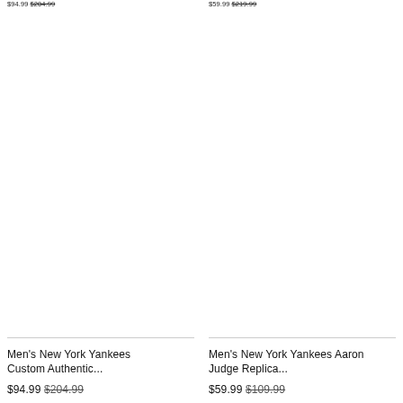$94.99 $204.99 (truncated top, left column)
$59.99 $219.99 (truncated top, right column)
[Figure (photo): Product image area for Men's New York Yankees Custom Authentic jersey, white/blank]
[Figure (photo): Product image area for Men's New York Yankees Aaron Judge Replica jersey, white/blank]
Men's New York Yankees Custom Authentic...
$94.99 $204.99
Men's New York Yankees Aaron Judge Replica...
$59.99 $109.99